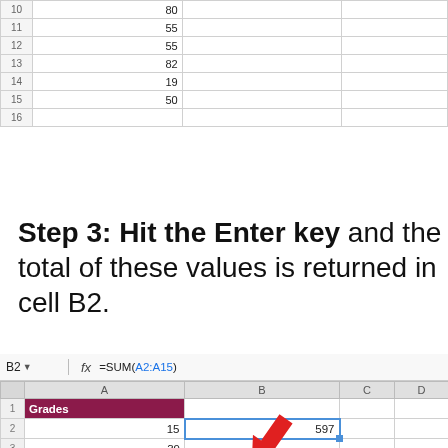[Figure (screenshot): Top portion of a spreadsheet showing rows 10-16 with values: row 10=80, row 11=55, row 12=55, row 13=82, row 14=19, row 15=50 (dashed border), row 16 empty]
Step 3: Hit the Enter key and the total of these values is returned in cell B2.
[Figure (screenshot): Spreadsheet screenshot showing formula bar with B2 selected and =SUM(A2:A15), column headers A B C D, row 1 has Grades in column A (dark red background), row 2 has 15 in A and 597 in B (selected cell with blue border), rows 3-5 show 39, 20, 50. A red arrow points to cell B2 with value 597.]